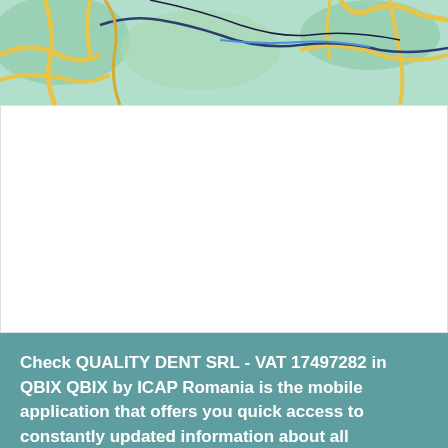[Figure (map): Street/geographic map snippet showing roads in yellow and green terrain areas, with dark blue/black boundary lines and light teal coloring for land areas.]
Check QUALITY DENT SRL - VAT 17497282 in QBIX QBIX by ICAP Romania is the mobile application that offers you quick access to constantly updated information about all companies in Romania. Download